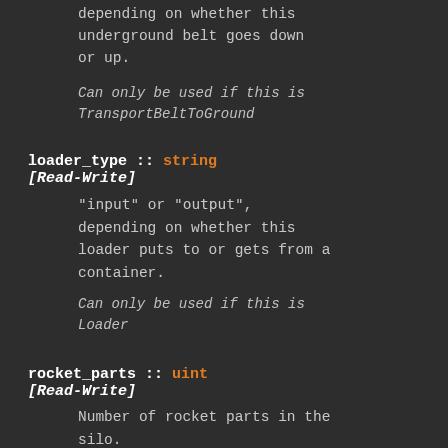depending on whether this underground belt goes down or up.
Can only be used if this is TransportBeltToGround
loader_type :: string [Read-Write]
"input" or "output", depending on whether this loader puts to or gets from a container.
Can only be used if this is Loader
rocket_parts :: uint [Read-Write]
Number of rocket parts in the silo.
Can only be used if this is RocketSilo